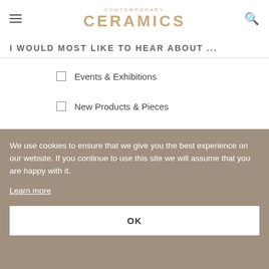CONTEMPORARY CERAMICS
I WOULD MOST LIKE TO HEAR ABOUT ...
Events & Exhibitions
New Products & Pieces
Sales & Promotions
We use cookies to ensure that we give you the best experience on our website. If you continue to use this site we will assume that you are happy with it.
Learn more
OK